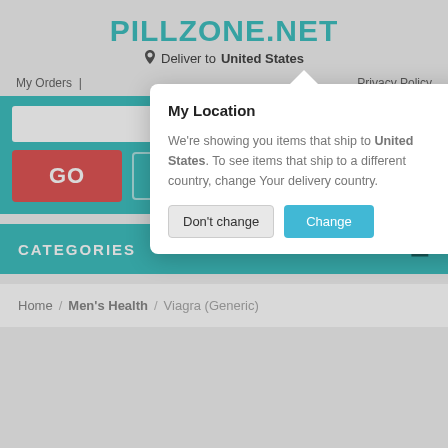PILLZONE.NET
Deliver to United States
My Orders | Privacy Policy
[Figure (screenshot): Modal dialog popup with title 'My Location', text about shipping to United States, and two buttons: 'Don't change' and 'Change']
GO
My Cart: 0 items
CATEGORIES
Home / Men's Health / Viagra (Generic)